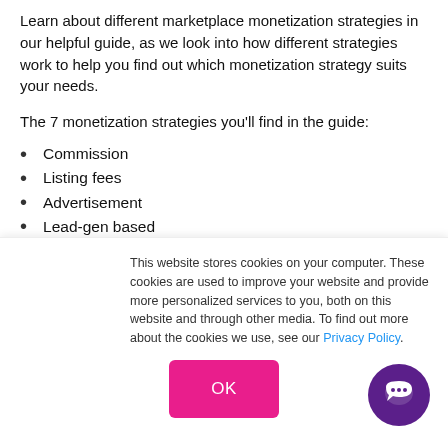Learn about different marketplace monetization strategies in our helpful guide, as we look into how different strategies work to help you find out which monetization strategy suits your needs.
The 7 monetization strategies you'll find in the guide:
Commission
Listing fees
Advertisement
Lead-gen based
Subscription
Signup fees
This website stores cookies on your computer. These cookies are used to improve your website and provide more personalized services to you, both on this website and through other media. To find out more about the cookies we use, see our Privacy Policy.